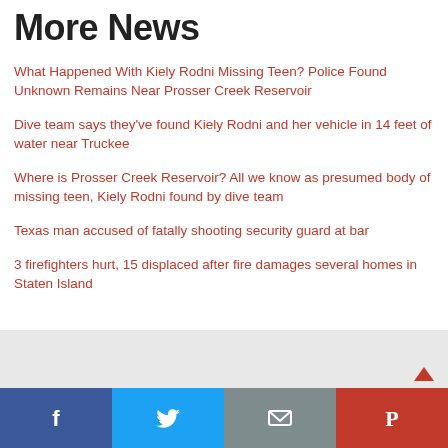More News
What Happened With Kiely Rodni Missing Teen? Police Found Unknown Remains Near Prosser Creek Reservoir
Dive team says they've found Kiely Rodni and her vehicle in 14 feet of water near Truckee
Where is Prosser Creek Reservoir? All we know as presumed body of missing teen, Kiely Rodni found by dive team
Texas man accused of fatally shooting security guard at bar
3 firefighters hurt, 15 displaced after fire damages several homes in Staten Island